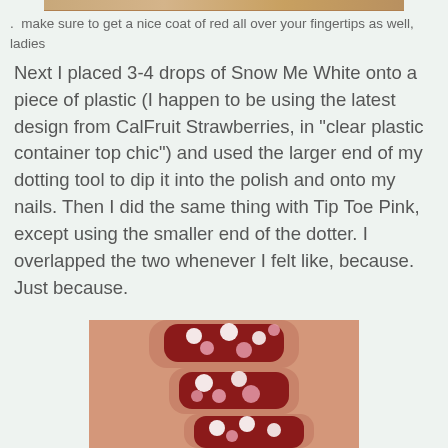[Figure (photo): Top decorative strip showing a partial cropped image with warm tan/brown tones]
.  make sure to get a nice coat of red all over your fingertips as well, ladies
Next I placed 3-4 drops of Snow Me White onto a piece of plastic (I happen to be using the latest design from CalFruit Strawberries, in "clear plastic container top chic") and used the larger end of my dotting tool to dip it into the polish and onto my nails. Then I did the same thing with Tip Toe Pink, except using the smaller end of the dotter. I overlapped the two whenever I felt like, because. Just because.
[Figure (photo): Close-up photo of fingernails painted red with white and pink polka dots, showing three fingers]